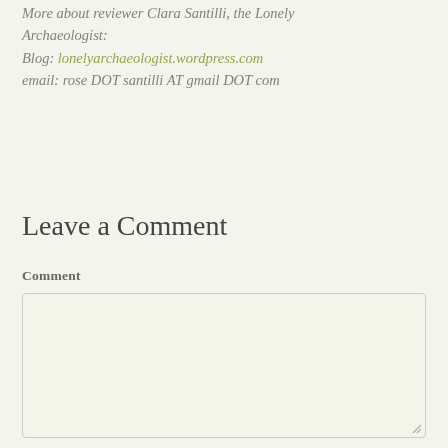More about reviewer Clara Santilli, the Lonely Archaeologist:
Blog: lonelyarchaeologist.wordpress.com
email: rose DOT santilli AT gmail DOT com
Leave a Comment
Comment